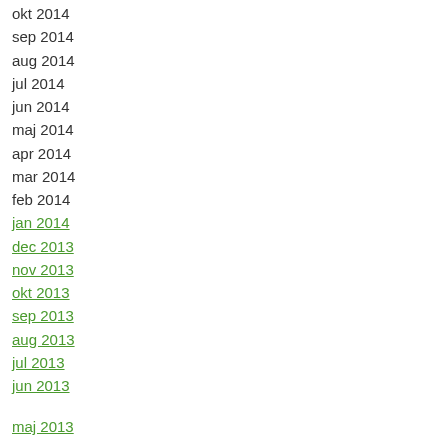okt 2014
sep 2014
aug 2014
jul 2014
jun 2014
maj 2014
apr 2014
mar 2014
feb 2014
jan 2014
dec 2013
nov 2013
okt 2013
sep 2013
aug 2013
jul 2013
jun 2013
maj 2013